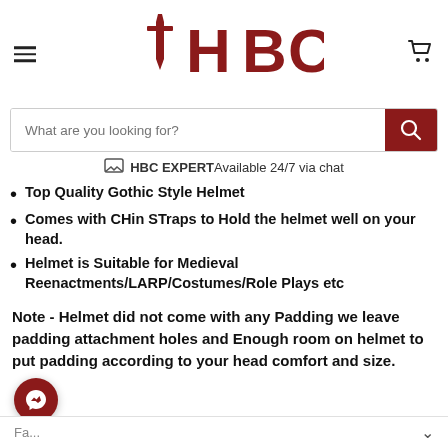[Figure (logo): HBC logo with red gothic cross and distressed red lettering 'HBC']
What are you looking for?
HBC EXPERT Available 24/7 via chat
Top Quality Gothic Style Helmet
Comes with CHin STraps to Hold the helmet well on your head.
Helmet is Suitable for Medieval Reenactments/LARP/Costumes/Role Plays etc
Note - Helmet did not come with any Padding we leave padding attachment holes and Enough room on helmet to put padding according to your head comfort and size.